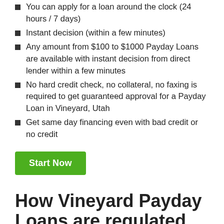You can apply for a loan around the clock (24 hours / 7 days)
Instant decision (within a few minutes)
Any amount from $100 to $1000 Payday Loans are available with instant decision from direct lender within a few minutes
No hard credit check, no collateral, no faxing is required to get guaranteed approval for a Payday Loan in Vineyard, Utah
Get same day financing even with bad credit or no credit
Start Now
How Vineyard Payday Loans are regulated
Vineyard Payday Loans are regulated by Utah short-term loan laws. They can limit loan rates and terms as well as amounts and other conditions. Check the data then Vineyard, UT Payday loans...